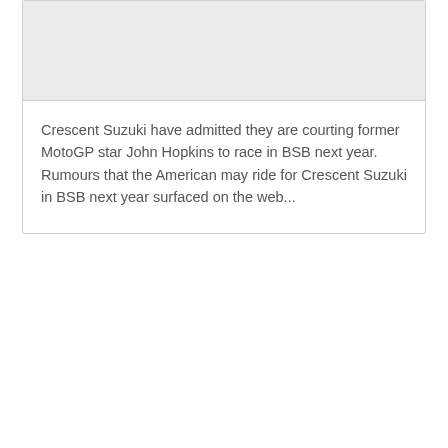[Figure (photo): Image placeholder / photo area at top of card, light gray background]
Crescent Suzuki have admitted they are courting former MotoGP star John Hopkins to race in BSB next year. Rumours that the American may ride for Crescent Suzuki in BSB next year surfaced on the web...